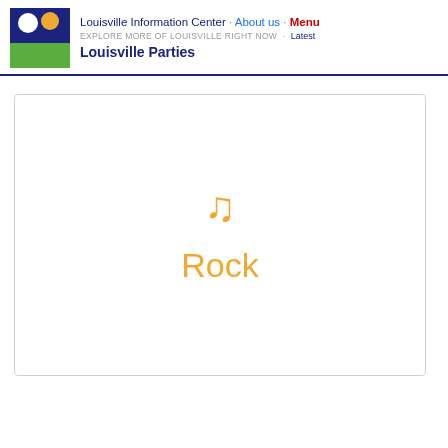Louisville Information Center · About us · Menu
EXPLORE MORE OF LOUISVILLE RIGHT NOW · Latest
Louisville Parties
[Figure (illustration): Music note icon (eighth note) in orange above the word Rock in orange, inside a bordered card/box]